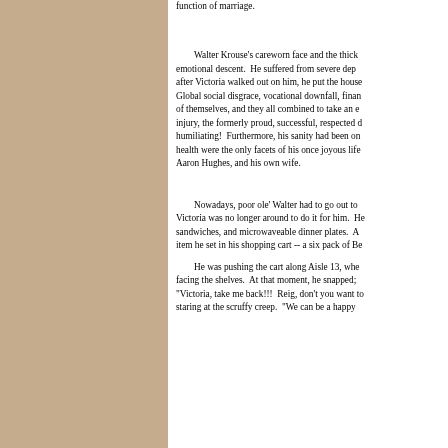function of marriage.
Walter Krouse's careworn face and the thick emotional descent. He suffered from severe dep after Victoria walked out on him, he put the house Global social disgrace, vocational downfall, finan of themselves, and they all combined to take an e injury, the formerly proud, successful, respected d humiliating! Furthermore, his sanity had been on health were the only facets of his once joyous life Aaron Hughes, and his own wife.
Nowadays, poor ole' Walter had to go out to Victoria was no longer around to do it for him. He sandwiches, and microwaveable dinner plates. A item he set in his shopping cart -- a six pack of Be
He was pushing the cart along Aisle 13, whe facing the shelves. At that moment, he snapped; "Victoria, take me back!!! Reig, don't you want to staring at the scruffy creep. "We can be a happy